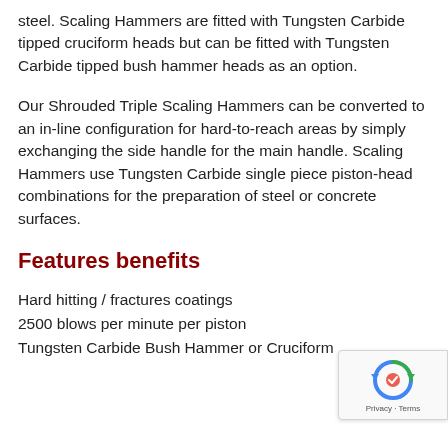steel. Scaling Hammers are fitted with Tungsten Carbide tipped cruciform heads but can be fitted with Tungsten Carbide tipped bush hammer heads as an option.
Our Shrouded Triple Scaling Hammers can be converted to an in-line configuration for hard-to-reach areas by simply exchanging the side handle for the main handle. Scaling Hammers use Tungsten Carbide single piece piston-head combinations for the preparation of steel or concrete surfaces.
Features benefits
Hard hitting / fractures coatings
2500 blows per minute per piston
Tungsten Carbide Bush Hammer or Cruciform